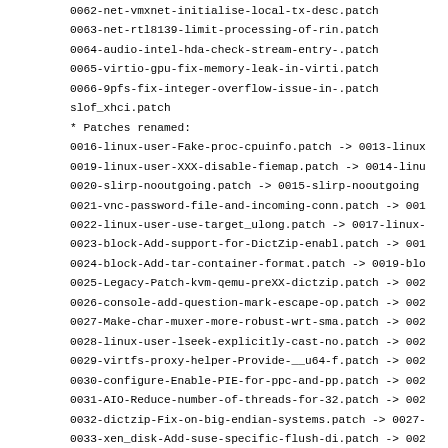0062-net-vmxnet-initialise-local-tx-desc.patch
0063-net-rtl8139-limit-processing-of-rin.patch
0064-audio-intel-hda-check-stream-entry-.patch
0065-virtio-gpu-fix-memory-leak-in-virti.patch
0066-9pfs-fix-integer-overflow-issue-in-.patch
slof_xhci.patch
* Patches renamed:
0016-linux-user-Fake-proc-cpuinfo.patch -> 0013-linux
0019-linux-user-XXX-disable-fiemap.patch -> 0014-linu
0020-slirp-nooutgoing.patch -> 0015-slirp-nooutgoing
0021-vnc-password-file-and-incoming-conn.patch -> 001
0022-linux-user-use-target_ulong.patch -> 0017-linux-
0023-block-Add-support-for-DictZip-enabl.patch -> 001
0024-block-Add-tar-container-format.patch -> 0019-blo
0025-Legacy-Patch-kvm-qemu-preXX-dictzip.patch -> 002
0026-console-add-question-mark-escape-op.patch -> 002
0027-Make-char-muxer-more-robust-wrt-sma.patch -> 002
0028-linux-user-lseek-explicitly-cast-no.patch -> 002
0029-virtfs-proxy-helper-Provide-__u64-f.patch -> 002
0030-configure-Enable-PIE-for-ppc-and-pp.patch -> 002
0031-AIO-Reduce-number-of-threads-for-32.patch -> 002
0032-dictzip-Fix-on-big-endian-systems.patch -> 0027-
0033-xen_disk-Add-suse-specific-flush-di.patch -> 002
0035-qemu-bridge-helper-reduce-security-.patch -> 002
0036-qemu-binfmt-conf-use-qemu-ARCH-binf.patch -> 003
0037-configure-Fix-detection-of-seccomp-.patch -> 003
0038-linux-user-properly-test-for-infini.patch -> 003
0040-linux-user-remove-all-traces-of-qem.patch -> 003
0067-dma-rc4030-limit-interval-timer-rel.patch -> 003
0068-net-imx-limit-buffer-descriptor-cou.patch -> 003